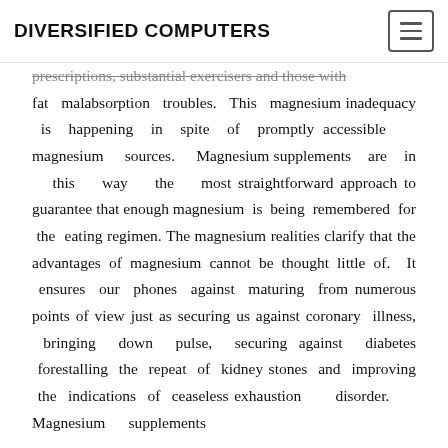DIVERSIFIED COMPUTERS
prescriptions, substantial exercisers and those with fat malabsorption troubles. This magnesium inadequacy is happening in spite of promptly accessible magnesium sources. Magnesium supplements are in this way the most straightforward approach to guarantee that enough magnesium is being remembered for the eating regimen. The magnesium realities clarify that the advantages of magnesium cannot be thought little of. It ensures our phones against maturing from numerous points of view just as securing us against coronary illness, bringing down pulse, securing against diabetes forestalling the repeat of kidney stones and improving the indications of ceaseless exhaustion disorder. Magnesium supplements